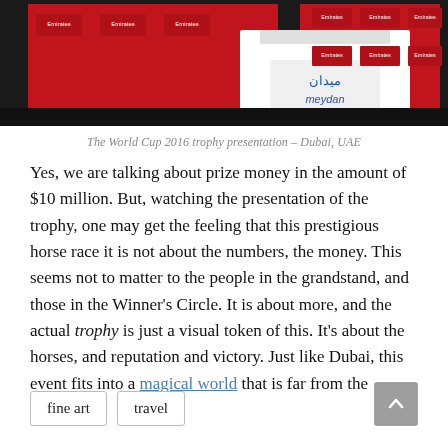[Figure (photo): Press conference podium with Meydan logo (in Arabic and English) surrounded by Emirates airline red branded backdrop banners.]
The World Cup 2016 trophy presentation – Dubai, UAE
Yes, we are talking about prize money in the amount of $10 million. But, watching the presentation of the trophy, one may get the feeling that this prestigious horse race it is not about the numbers, the money. This seems not to matter to the people in the grandstand, and those in the Winner's Circle. It is about more, and the actual trophy is just a visual token of this. It's about the horses, and reputation and victory. Just like Dubai, this event fits into a magical world that is far from the ordinary.
fine art
travel